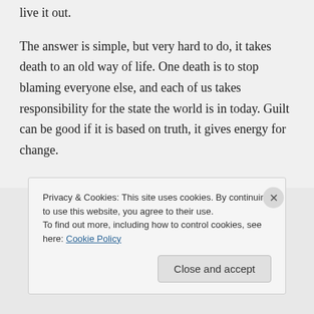live it out.
The answer is simple, but very hard to do, it takes death to an old way of life. One death is to stop blaming everyone else, and each of us takes responsibility for the state the world is in today. Guilt can be good if it is based on truth, it gives energy for change.
Privacy & Cookies: This site uses cookies. By continuing to use this website, you agree to their use. To find out more, including how to control cookies, see here: Cookie Policy